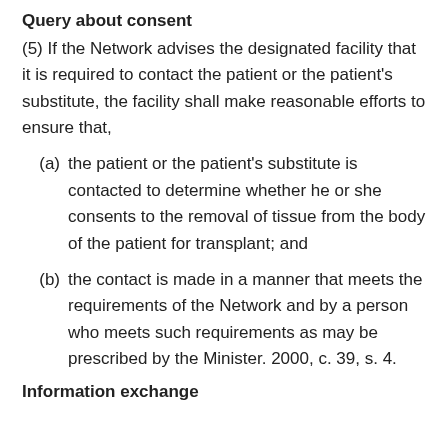Query about consent
(5) If the Network advises the designated facility that it is required to contact the patient or the patient's substitute, the facility shall make reasonable efforts to ensure that,
(a) the patient or the patient's substitute is contacted to determine whether he or she consents to the removal of tissue from the body of the patient for transplant; and
(b) the contact is made in a manner that meets the requirements of the Network and by a person who meets such requirements as may be prescribed by the Minister. 2000, c. 39, s. 4.
Information exchange